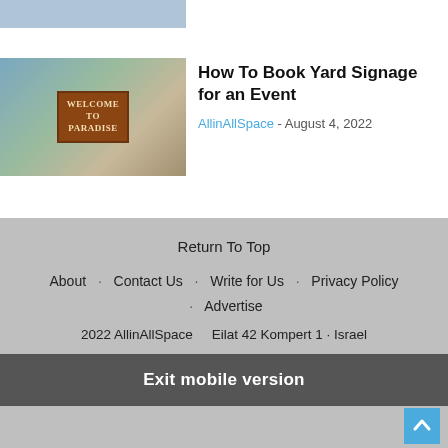[Figure (photo): Partial image strip at top of page]
[Figure (photo): Thumbnail image of a wooden welcome sign reading WELCOME TO PARADISE hanging outdoors with city buildings in background]
How To Book Yard Signage for an Event
AllinAllSpace - August 4, 2022
Return To Top  About · Contact Us · Write for Us · Privacy Policy · Advertise  2022 AllinAllSpace     Eilat 42 Kompert 1 · Israel  Exit mobile version